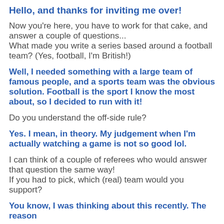Hello, and thanks for inviting me over!
Now you're here, you have to work for that cake, and answer a couple of questions...
What made you write a series based around a football team? (Yes, football, I'm British!)
Well, I needed something with a large team of famous people, and a sports team was the obvious solution. Football is the sport I know the most about, so I decided to run with it!
Do you understand the off-side rule?
Yes. I mean, in theory. My judgement when I'm actually watching a game is not so good lol.
I can think of a couple of referees who would answer that question the same way!
If you had to pick, which (real) team would you support?
You know, I was thinking about this recently. The reason